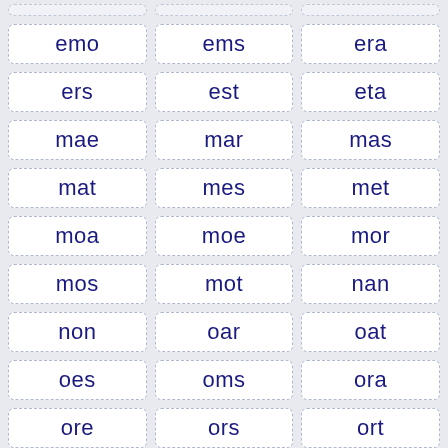emo
ems
era
ers
est
eta
mae
mar
mas
mat
mes
met
moa
moe
mor
mos
mot
nan
non
oar
oat
oes
oms
ora
ore
ors
ort
ose
ram
ras
rat
rem
reo